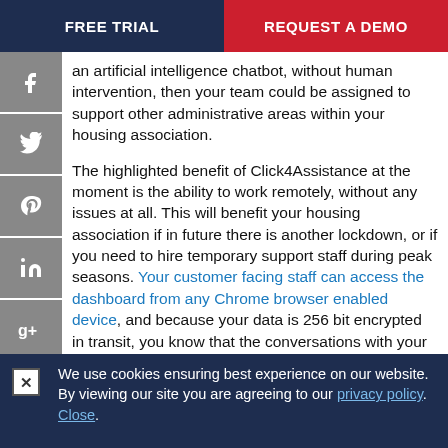FREE TRIAL | REQUEST A DEMO
an artificial intelligence chatbot, without human intervention, then your team could be assigned to support other administrative areas within your housing association.
The highlighted benefit of Click4Assistance at the moment is the ability to work remotely, without any issues at all. This will benefit your housing association if in future there is another lockdown, or if you need to hire temporary support staff during peak seasons. Your customer facing staff can access the dashboard from any Chrome browser enabled device, and because your data is 256 bit encrypted in transit, you know that the conversations with your customers are safe and secure.
Click4Assistance has over 15 years of experience of working with housing associations to find solutions for their customer service and making their customer
We use cookies ensuring best experience on our website. By viewing our site you are agreeing to our privacy policy. Close.